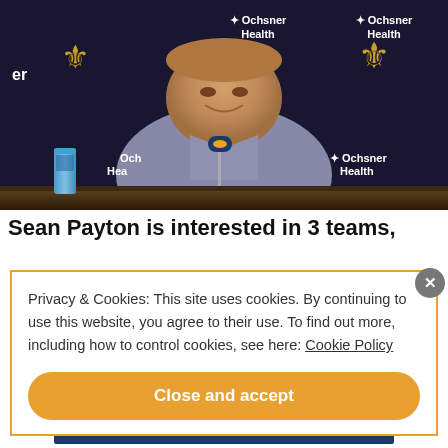[Figure (photo): Sean Payton smiling at a press conference podium in front of a dark New Orleans Saints / Ochsner Health branded backdrop, wearing a grey long-sleeve shirt, with a microphone and water bottle visible on the table.]
Sean Payton is interested in 3 teams,
Privacy & Cookies: This site uses cookies. By continuing to use this website, you agree to their use. To find out more, including how to control cookies, see here: Cookie Policy
Close and accept